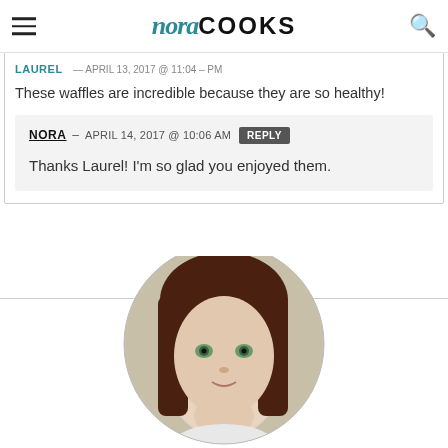nora COOKS
These waffles are incredible because they are so healthy!
NORA — APRIL 14, 2017 @ 10:06 AM REPLY
Thanks Laurel! I'm so glad you enjoyed them.
[Figure (photo): Circular cropped portrait photo of a woman with dark brown hair, green eyes, looking at the camera against a light background.]